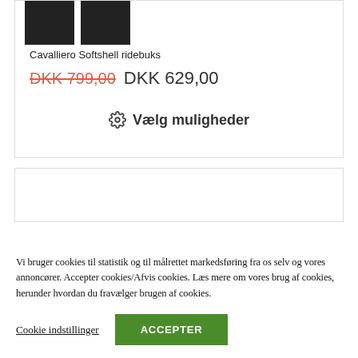[Figure (photo): Two dark/black product images of riding trousers side by side at top of product card]
Cavalliero Softshell ridebuks
DKK 799,00 DKK 629,00
⚙ Vælg muligheder
Vi bruger cookies til statistik og til målrettet markedsføring fra os selv og vores annoncører. Accepter cookies/Afvis cookies. Læs mere om vores brug af cookies, herunder hvordan du fravælger brugen af cookies.
Cookie indstillinger
ACCEPTER